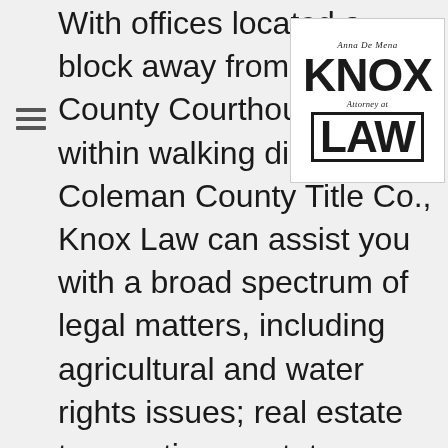[Figure (logo): Knox Law firm logo: serif italic heading 'Anna De Mena', large bold 'KNOX', italic 'Attorney at', large bold 'LAW' in a box border, all on white background]
With offices located a block away from Coleman County Courthouse and within walking distance of Coleman County Title Co., Knox Law can assist you with a broad spectrum of legal matters, including agricultural and water rights issues; real estate transactions; estate planning and probate. We also offer legal assistance with misdemeanor criminal offenses such as DWI / DUI; drug offenses; occupational drivers license. We are dedicated to ensuring our clients' needs are met and exceeded as expeditiously as possible. You will be comfortable with our down-home, Texas-friendly approach to your legal requirements,